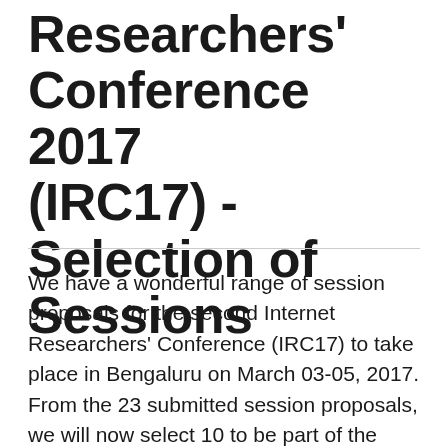Researchers' Conference 2017 (IRC17) - Selection of Sessions
We have a wonderful range of session proposals for the second Internet Researchers' Conference (IRC17) to take place in Bengaluru on March 03-05, 2017. From the 23 submitted session proposals, we will now select 10 to be part of the final Conference agenda. The selection will be done through votes casted by the teams that have proposed the sessions. This will take place in December 2016. Before that, we invite the organizers to consult the contributors to lend...